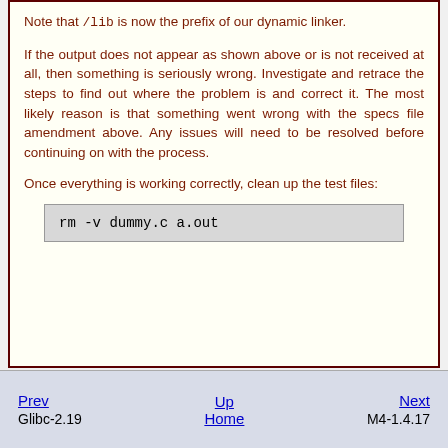Note that /lib is now the prefix of our dynamic linker.
If the output does not appear as shown above or is not received at all, then something is seriously wrong. Investigate and retrace the steps to find out where the problem is and correct it. The most likely reason is that something went wrong with the specs file amendment above. Any issues will need to be resolved before continuing on with the process.
Once everything is working correctly, clean up the test files:
rm -v dummy.c a.out
Prev  Glibc-2.19    Up  Home    Next  M4-1.4.17